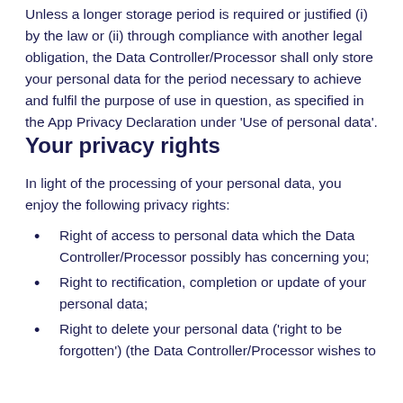Unless a longer storage period is required or justified (i) by the law or (ii) through compliance with another legal obligation, the Data Controller/Processor shall only store your personal data for the period necessary to achieve and fulfil the purpose of use in question, as specified in the App Privacy Declaration under 'Use of personal data'.
Your privacy rights
In light of the processing of your personal data, you enjoy the following privacy rights:
Right of access to personal data which the Data Controller/Processor possibly has concerning you;
Right to rectification, completion or update of your personal data;
Right to delete your personal data ('right to be forgotten') (the Data Controller/Processor wishes to